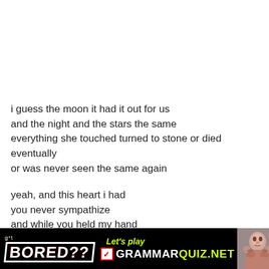i guess the moon it had it out for us
and the night and the stars the same
everything she touched turned to stone or died eventually
or was never seen the same again
yeah, and this heart i had
you never sympathize
and while you held my hand
i think i witnessed a crime
[Figure (infographic): Black banner advertisement for GrammarQuiz.net. Left side shows 'g*t BORED??' in white bold text with red shadow and white border on black background. Center shows 'Let's play' in yellow-green italic text above a red checkbox with checkmark followed by 'GRAMMARQUIZ.NET' in white and yellow-green bold uppercase text. Right side shows a photo of a person with hands on face.]